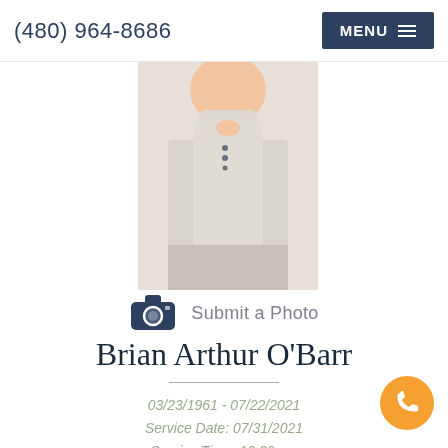(480) 964-8686  MENU
[Figure (photo): Partial photo of Brian Arthur O'Barr showing torso in a white henley shirt, cropped at neck/shoulder area]
Submit a Photo
Brian Arthur O'Barr
03/23/1961 - 07/22/2021
Service Date: 07/31/2021
Service Time: 10:30 am
Service Location: The Church of Jesus Christ of Latter-day Saints, 5350 E. McLellan Rd., Mesa